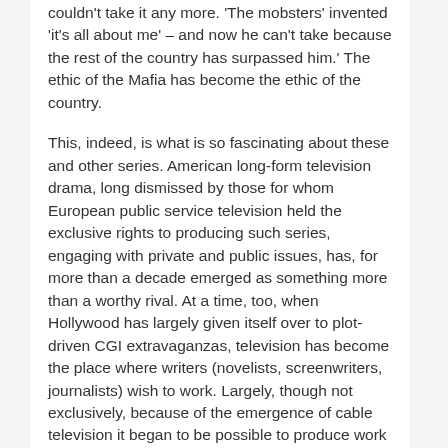couldn't take it any more. 'The mobsters' invented 'it's all about me' – and now he can't take because the rest of the country has surpassed him.' The ethic of the Mafia has become the ethic of the country.
This, indeed, is what is so fascinating about these and other series. American long-form television drama, long dismissed by those for whom European public service television held the exclusive rights to producing such series, engaging with private and public issues, has, for more than a decade emerged as something more than a worthy rival. At a time, too, when Hollywood has largely given itself over to plot-driven CGI extravaganzas, television has become the place where writers (novelists, screenwriters, journalists) wish to work. Largely, though not exclusively, because of the emergence of cable television it began to be possible to produce work that did not depend on ratings, growing audiences through the sale of DVDs and subsequently through streaming, webisodes, active web sites.
The Wire took on the deprivations of American cities, the failures of education, government, the media. Battlestar Galactica engaged with the political, social and moral impact of 9/11. Mad Men explored the ambivalent attitude towards women and racial minorities in the 1960s but with continuing relevance in a country